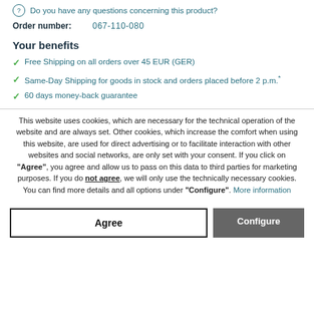Do you have any questions concerning this product?
Order number: 067-110-080
Your benefits
Free Shipping on all orders over 45 EUR (GER)
Same-Day Shipping for goods in stock and orders placed before 2 p.m.*
60 days money-back guarantee
This website uses cookies, which are necessary for the technical operation of the website and are always set. Other cookies, which increase the comfort when using this website, are used for direct advertising or to facilitate interaction with other websites and social networks, are only set with your consent. If you click on "Agree", you agree and allow us to pass on this data to third parties for marketing purposes. If you do not agree, we will only use the technically necessary cookies. You can find more details and all options under "Configure". More information
Agree
Configure